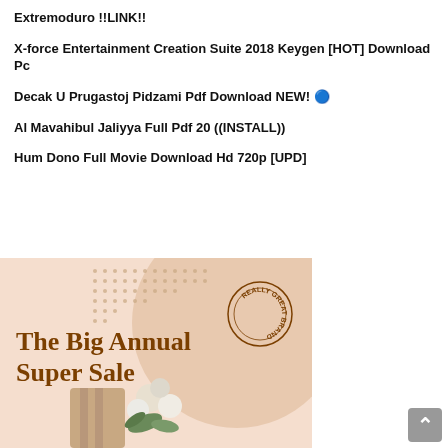Extremoduro !!LINK!!
X-force Entertainment Creation Suite 2018 Keygen [HOT] Download Pc
Decak U Prugastoj Pidzami Pdf Download NEW! 🔵
Al Mavahibul Jaliyya Full Pdf 20 ((INSTALL))
Hum Dono Full Movie Download Hd 720p [UPD]
[Figure (illustration): Promotional banner for 'The Big Annual Super Sale' with peach/beige background, large circular shapes, dot pattern, circular brand stamp reading 'REALLY GREAT BRAND', large brown serif text, and a photo of flowers and wrapped item at the bottom.]